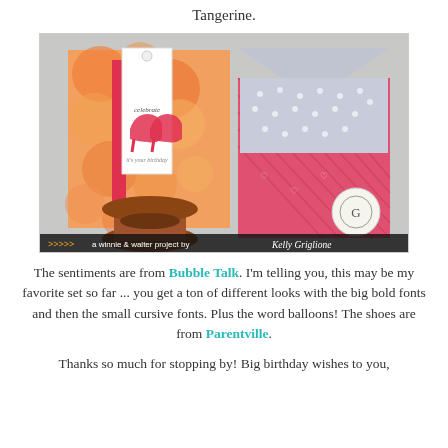Tangerine.
[Figure (photo): A handmade birthday card with orange citrus patterned background and a white tag stamped with red high heel shoes and the text 'it's your birthday', displayed on a wooden spool. Beside it is a pink striped envelope with a grey interior flap and a circular logo badge. Watermark at bottom reads: a winnie & walter project by Kelly Griglione]
The sentiments are from Bubble Talk. I'm telling you, this may be my favorite set so far ... you get a ton of different looks with the big bold fonts and then the small cursive fonts. Plus the word balloons! The shoes are from Parentville.
Thanks so much for stopping by! Big birthday wishes to you,